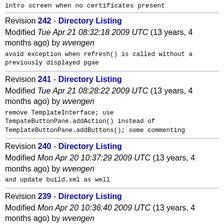intro screen when no certificates present
Revision 242 - Directory Listing
Modified Tue Apr 21 08:32:18 2009 UTC (13 years, 4 months ago) by wvengen
avoid exception when refresh() is called without a previously displayed pgae
Revision 241 - Directory Listing
Modified Tue Apr 21 08:28:22 2009 UTC (13 years, 4 months ago) by wvengen
remove TemplateInterface; use TempateButtonPane.addAction() instead of TemplateButtonPane.addButtons(); some commenting
Revision 240 - Directory Listing
Modified Mon Apr 20 10:37:29 2009 UTC (13 years, 4 months ago) by wvengen
and update build.xml as well
Revision 239 - Directory Listing
Modified Mon Apr 20 10:36:40 2009 UTC (13 years, 4 months ago) by wvengen